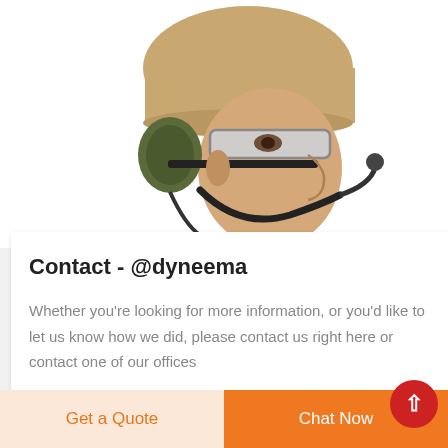[Figure (photo): Tactical mannequin wearing a tan/beige helmet with olive green ear protection/headset, clear safety glasses, and a chin strap with microphone boom arm, viewed from the side against a white background.]
Contact - @dyneema
Whether you're looking for more information, or you'd like to let us know how we did, please contact us right here or contact one of our offices
Get a Quote
Chat Now